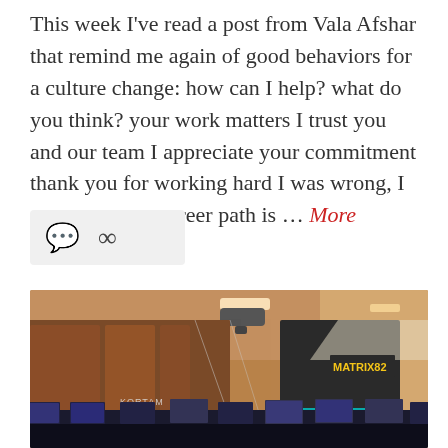This week I've read a post from Vala Afshar that remind me again of good behaviors for a culture change: how can I help? what do you think? your work matters I trust you and our team I appreciate your commitment thank you for working hard I was wrong, I am sorry your career path is … More
[Figure (other): Icon bar with chat bubble and share/link icons on a light gray background]
[Figure (photo): A conference or training room with rows of computers/laptops on desks, a projector mounted on the ceiling, wooden wall panels with glass partitions, and a large projection screen at the front displaying the MATRIX82 logo in yellow text on a dark background.]